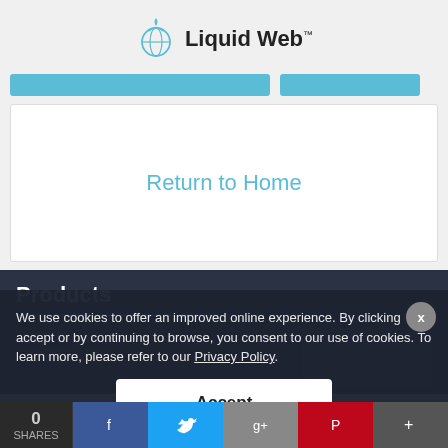[Figure (logo): Liquid Web logo with droplet/globe icon and text 'Liquid Web™']
[Figure (screenshot): Two blue navigation bar buttons partially visible]
Return to Home
Products
We use cookies to offer an improved online experience. By clicking accept or by continuing to browse, you consent to our use of cookies. To learn more, please refer to our Privacy Policy.
Accept